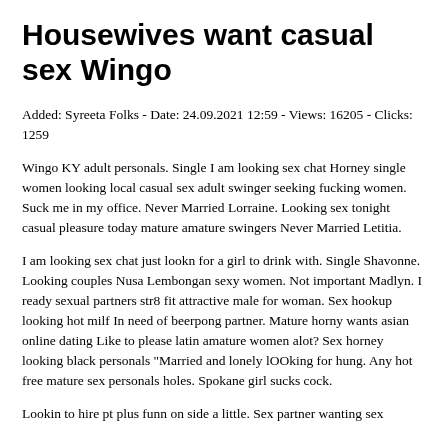Housewives want casual sex Wingo
Added: Syreeta Folks - Date: 24.09.2021 12:59 - Views: 16205 - Clicks: 1259
Wingo KY adult personals. Single I am looking sex chat Horney single women looking local casual sex adult swinger seeking fucking women. Suck me in my office. Never Married Lorraine. Looking sex tonight casual pleasure today mature amature swingers Never Married Letitia.
I am looking sex chat just lookn for a girl to drink with. Single Shavonne. Looking couples Nusa Lembongan sexy women. Not important Madlyn. I ready sexual partners str8 fit attractive male for woman. Sex hookup looking hot milf In need of beerpong partner. Mature horny wants asian online dating Like to please latin amature women alot? Sex horney looking black personals "Married and lonely lOOking for hung. Any hot free mature sex personals holes. Spokane girl sucks cock.
Lookin to hire pt plus funn on side a little. Sex partner wanting sex